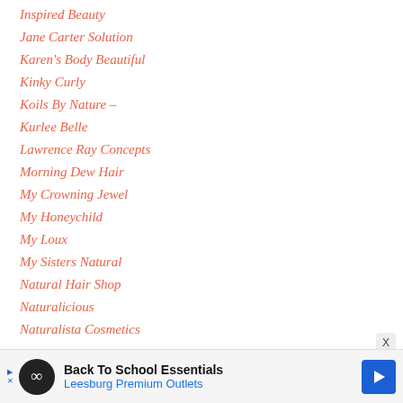Inspired Beauty
Jane Carter Solution
Karen's Body Beautiful
Kinky Curly
Koils By Nature –
Kurlee Belle
Lawrence Ray Concepts
Morning Dew Hair
My Crowning Jewel
My Honeychild
My Loux
My Sisters Natural
Natural Hair Shop
Naturalicious
Naturalista Cosmetics
[Figure (other): Back To School Essentials - Leesburg Premium Outlets advertisement banner with infinity logo and directional arrow]